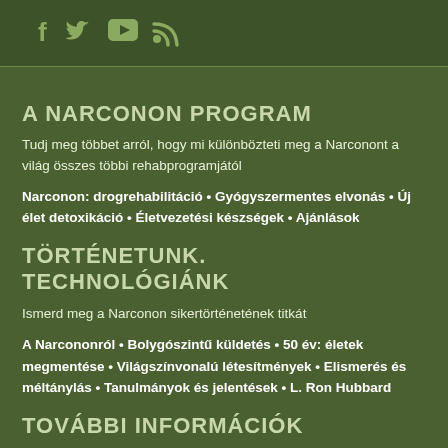Social media icons: Facebook, Twitter, YouTube, RSS
A NARCONON PROGRAM
Tudj meg többet arról, hogy mi különbözteti meg a Narconont a világ összes többi rehabprogramjától
Narconon: drogrehabilitáció • Gyógyszermentes elvonás • Új élet detoxikáció • Életvezetési készségek • Ajánlások
TÖRTÉNETUNK. TECHNOLÓGIÁNK
Ismerd meg a Narconon sikertörténetének titkát
A Narcononról • Bolygószintű küldetés • 50 év: életek megmentése • Világszínvonalú létesítmények • Elismerés és méltánylás • Tanulmányok és jelentések • L. Ron Hubbard
TOVÁBBI INFORMÁCIÓK
Tanácsadók, drogrehabilitációs szakemberek és aggódó családtagok